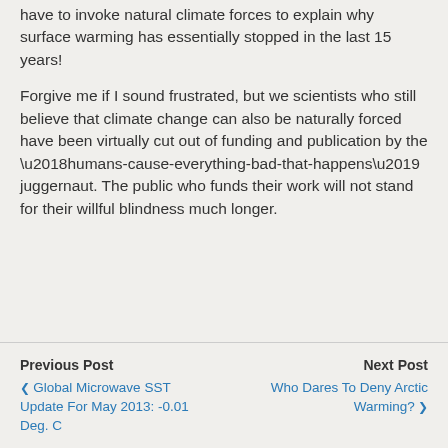have to invoke natural climate forces to explain why surface warming has essentially stopped in the last 15 years!
Forgive me if I sound frustrated, but we scientists who still believe that climate change can also be naturally forced have been virtually cut out of funding and publication by the ‘humans-cause-everything-bad-that-happens’ juggernaut. The public who funds their work will not stand for their willful blindness much longer.
Previous Post: Global Microwave SST Update For May 2013: -0.01 Deg. C | Next Post: Who Dares To Deny Arctic Warming?